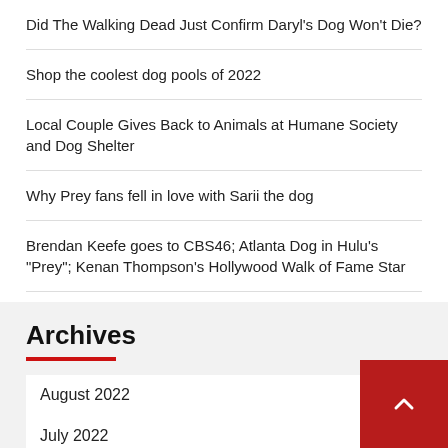Did The Walking Dead Just Confirm Daryl’s Dog Won’t Die?
Shop the coolest dog pools of 2022
Local Couple Gives Back to Animals at Humane Society and Dog Shelter
Why Prey fans fell in love with Sarii the dog
Brendan Keefe goes to CBS46; Atlanta Dog in Hulu’s “Prey”; Kenan Thompson’s Hollywood Walk of Fame Star
Archives
August 2022
July 2022
June 2022
May 2022